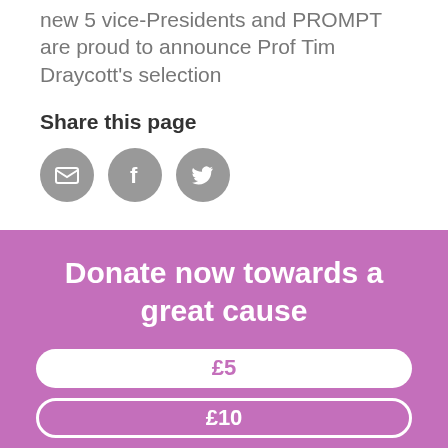new 5 vice-Presidents and PROMPT are proud to announce Prof Tim Draycott's selection
Share this page
[Figure (infographic): Three circular social sharing icons: email (envelope), Facebook (f), and Twitter (bird) in grey circles]
Donate now towards a great cause
£5
£10